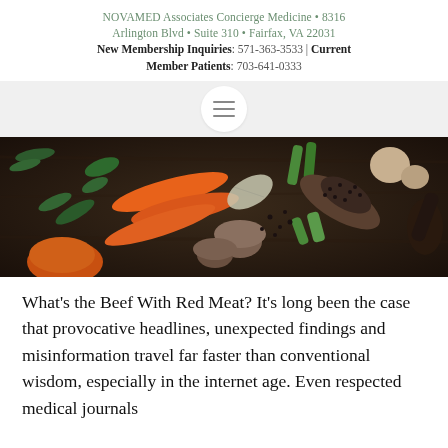NOVAMED Associates Concierge Medicine • 8316 Arlington Blvd • Suite 310 • Fairfax, VA 22031
New Membership Inquiries: 571-363-3533 | Current Member Patients: 703-641-0333
[Figure (photo): Overhead view of fresh vegetables and spices on a dark wooden surface, including carrots, mushrooms, garlic, pumpkin, celery, herbs, and a spoon with black peppercorns.]
What's the Beef With Red Meat? It's long been the case that provocative headlines, unexpected findings and misinformation travel far faster than conventional wisdom, especially in the internet age. Even respected medical journals